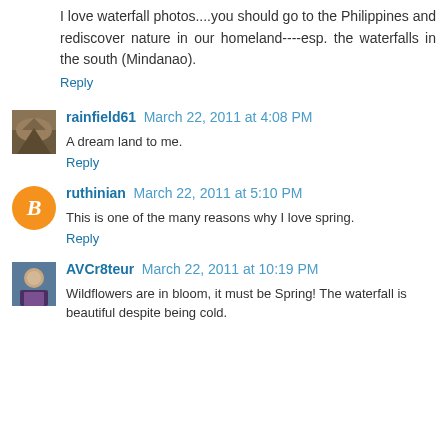I love waterfall photos....you should go to the Philippines and rediscover nature in our homeland----esp. the waterfalls in the south (Mindanao).
Reply
rainfield61  March 22, 2011 at 4:08 PM
A dream land to me.
Reply
ruthinian  March 22, 2011 at 5:10 PM
This is one of the many reasons why I love spring.
Reply
AVCr8teur  March 22, 2011 at 10:19 PM
Wildflowers are in bloom, it must be Spring! The waterfall is beautiful despite being cold.